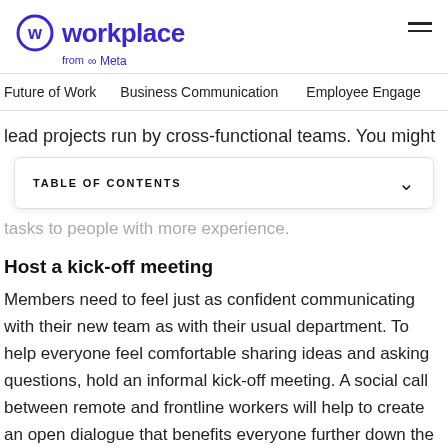workplace from Meta
Future of Work   Business Communication   Employee Engage
lead projects run by cross-functional teams. You might
TABLE OF CONTENTS
tasks to people with more experience.
Host a kick-off meeting
Members need to feel just as confident communicating with their new team as with their usual department. To help everyone feel comfortable sharing ideas and asking questions, hold an informal kick-off meeting. A social call between remote and frontline workers will help to create an open dialogue that benefits everyone further down the line, no matter where people are